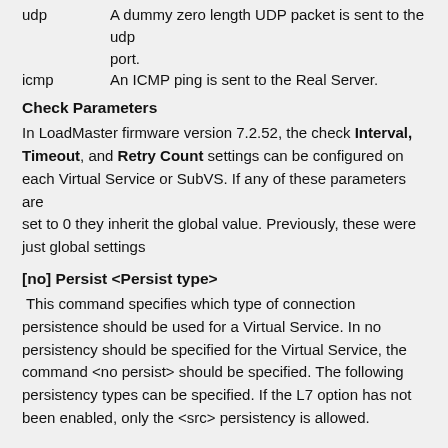udp	A dummy zero length UDP packet is sent to the udp port.
icmp	An ICMP ping is sent to the Real Server.
Check Parameters
In LoadMaster firmware version 7.2.52, the check Interval, Timeout, and Retry Count settings can be configured on each Virtual Service or SubVS. If any of these parameters are set to 0 they inherit the global value. Previously, these were just global settings
[no] Persist <Persist type>
This command specifies which type of connection persistence should be used for a Virtual Service. In no persistency should be specified for the Virtual Service, the command <no persist> should be specified. The following persistency types can be specified. If the L7 option has not been enabled, only the <src> persistency is allowed.